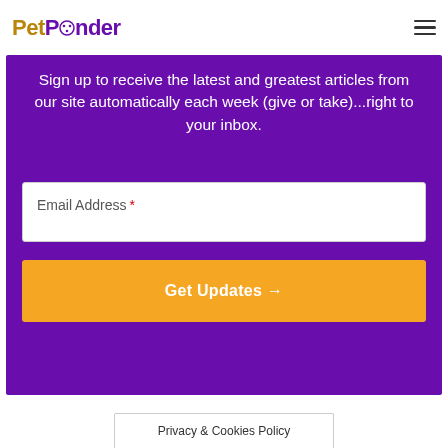PetPonder
Sign up to receive the latest and greatest articles from our site automatically each week (give or take)...right to your inbox.
Email Address *
Get Updates →
Privacy & Cookies Policy